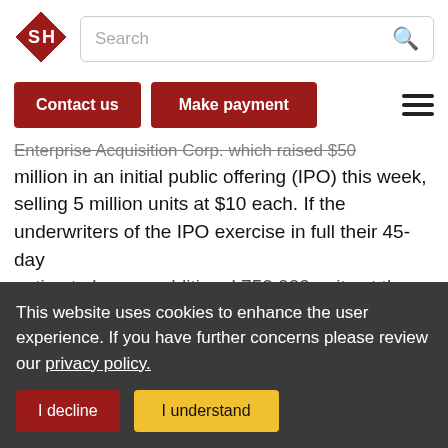[Figure (logo): SH logo — red diamond shape with white S and H letters]
Search
Contact us
Make payment
Enterprise Acquisition Corp. which raised $50 million in an initial public offering (IPO) this week, selling 5 million units at $10 each. If the underwriters of the IPO exercise in full their 45-day option to buy an additional 750,000 units at the IPO
This website uses cookies to enhance the user experience. If you have further concerns please review our privacy policy.
I decline
I understand